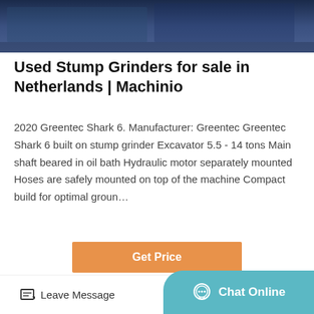[Figure (photo): Dark blue industrial/machinery image at top of page]
Used Stump Grinders for sale in Netherlands | Machinio
2020 Greentec Shark 6. Manufacturer: Greentec Greentec Shark 6 built on stump grinder Excavator 5.5 - 14 tons Main shaft beared in oil bath Hydraulic motor separately mounted Hoses are safely mounted on top of the machine Compact build for optimal groun…
[Figure (other): Get Price button (orange/amber colored call-to-action button)]
[Figure (photo): Industrial factory interior with large dark cylindrical machines/grinders]
Leave Message   Chat Online